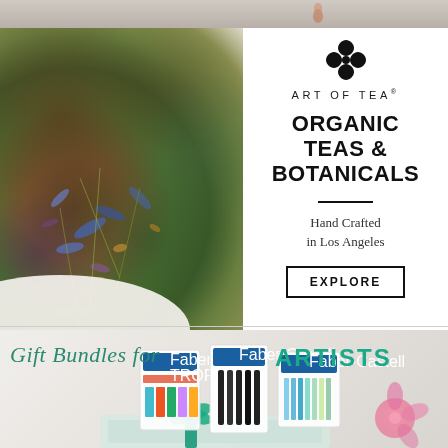[Figure (photo): Top cropped photo strip showing a surface with a small decorative item]
[Figure (photo): Art of Tea advertisement featuring organic botanical tea mix in a white bowl on the left, and branding text on the right including logo, brand name, headline, tagline and explore button]
[Figure (photo): Gift Bundles for Artists advertisement featuring Faber-Castell art supply packages arranged as gift bundles with floral wrap and teal ribbon, with script and bold text overlay]